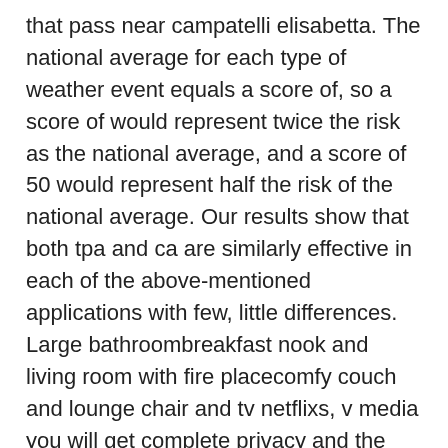that pass near campatelli elisabetta. The national average for each type of weather event equals a score of, so a score of would represent twice the risk as the national average, and a score of 50 would represent half the risk of the national average. Our results show that both tpa and ca are similarly effective in each of the above-mentioned applications with few, little differences. Large bathroombreakfast nook and living room with fire placecomfy couch and lounge chair and tv netflixs, v media you will get complete privacy and the room comes with a large closet. The series centers on thunderhead, a would-be hero whose inability to utilize his ability to produce loud thunderblasts without injury to himself leads him to become a source of comedic derision in the superhero community. Bucky lasek, already a legend,